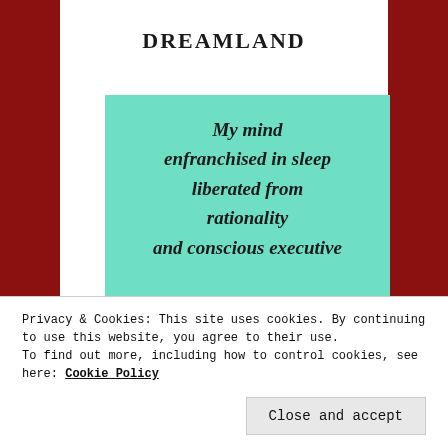DREAMLAND
My mind enfranchised in sleep liberated from rationality and conscious executive decision
Privacy & Cookies: This site uses cookies. By continuing to use this website, you agree to their use.
To find out more, including how to control cookies, see here: Cookie Policy
Close and accept